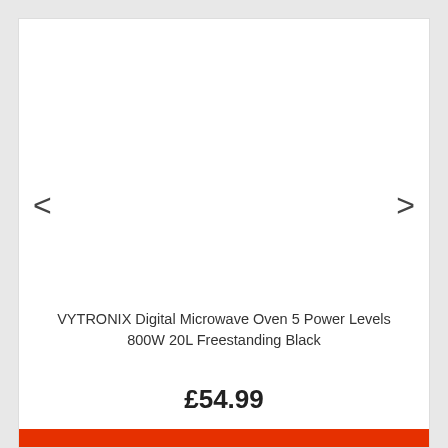[Figure (photo): White product image area (blank/empty product photo area for a microwave oven) with left and right navigation arrows]
VYTRONIX Digital Microwave Oven 5 Power Levels 800W 20L Freestanding Black
£54.99